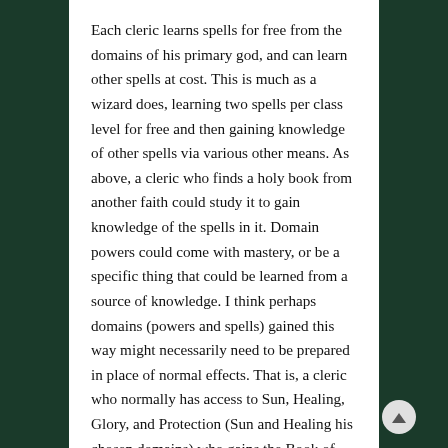Each cleric learns spells for free from the domains of his primary god, and can learn other spells at cost. This is much as a wizard does, learning two spells per class level for free and then gaining knowledge of other spells via various other means. As above, a cleric who finds a holy book from another faith could study it to gain knowledge of the spells in it. Domain powers could come with mastery, or be a specific thing that could be learned from a source of knowledge. I think perhaps domains (powers and spells) gained this way might necessarily need to be prepared in place of normal effects. That is, a cleric who normally has access to Sun, Healing, Glory, and Protection (Sun and Healing his chosen domains) who gains the Book of War described above might be able to prepare spells from the Book of War, but could not spontaneously cast